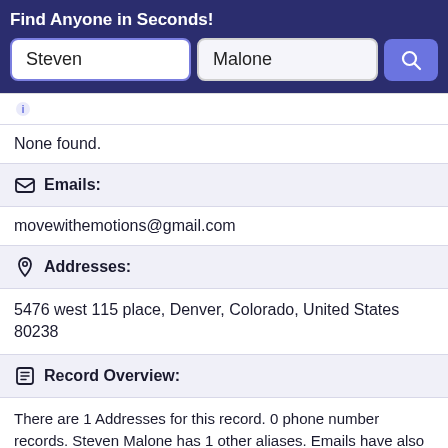Find Anyone in Seconds!
Steven
Malone
None found.
Emails:
movewithemotions@gmail.com
Addresses:
5476 west 115 place, Denver, Colorado, United States 80238
Record Overview:
There are 1 Addresses for this record. 0 phone number records. Steven Malone has 1 other aliases. Emails have also been found for Steven Malone with a total amount of 1 email records. Steven Malone has 0 employment history records.